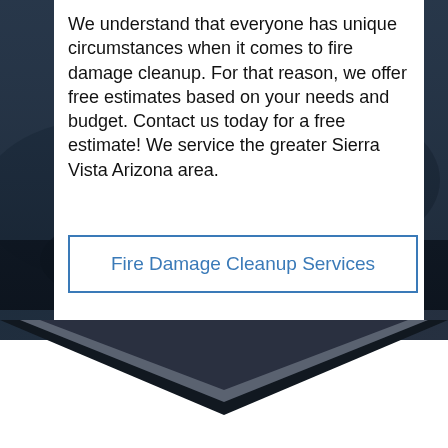We understand that everyone has unique circumstances when it comes to fire damage cleanup. For that reason, we offer free estimates based on your needs and budget. Contact us today for a free estimate! We service the greater Sierra Vista Arizona area.
Fire Damage Cleanup Services
[Figure (illustration): Dark blurred background photo of a fire-damaged or urban scene with a downward-pointing chevron/arrow shape at the bottom in dark gray]